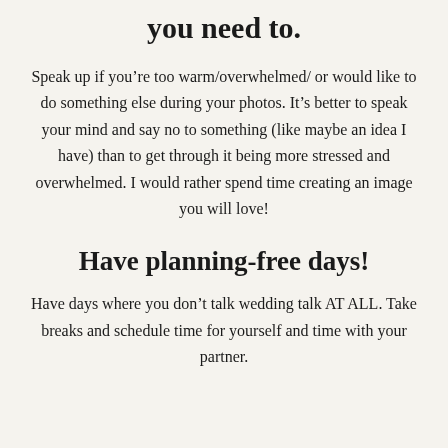you need to.
Speak up if you’re too warm/overwhelmed/ or would like to do something else during your photos. It’s better to speak your mind and say no to something (like maybe an idea I have) than to get through it being more stressed and overwhelmed. I would rather spend time creating an image you will love!
Have planning-free days!
Have days where you don’t talk wedding talk AT ALL. Take breaks and schedule time for yourself and time with your partner.